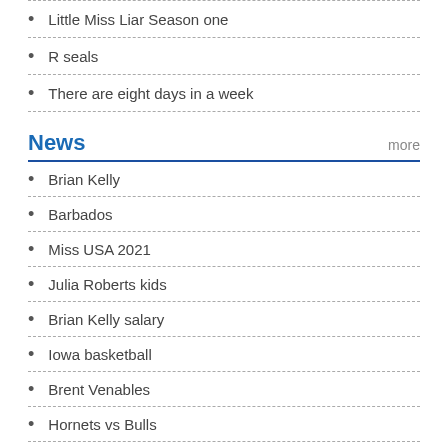Little Miss Liar Season one
R seals
There are eight days in a week
News
Brian Kelly
Barbados
Miss USA 2021
Julia Roberts kids
Brian Kelly salary
Iowa basketball
Brent Venables
Hornets vs Bulls
DK Metcalf